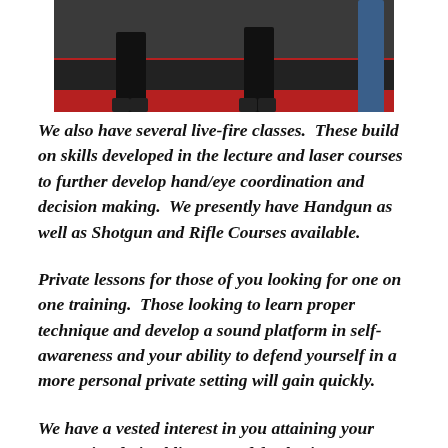[Figure (photo): Photo of people training in a gym with red and dark flooring, showing legs and feet of participants]
We also have several live-fire classes.  These build on skills developed in the lecture and laser courses to further develop hand/eye coordination and decision making.  We presently have Handgun as well as Shotgun and Rifle Courses available.
Private lessons for those of you looking for one on one training.  Those looking to learn proper technique and develop a sound platform in self-awareness and your ability to defend yourself in a more personal private setting will gain quickly.
We have a vested interest in you attaining your unrestricted pistol license and furthering your shooting experience.  Remember that of the 20 or